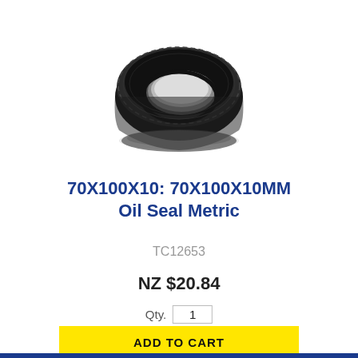[Figure (photo): Black rubber oil seal / shaft seal ring viewed at an angle, showing the circular ring shape with inner lip, dark rubber material.]
70X100X10: 70X100X10MM Oil Seal Metric
TC12653
NZ $20.84
Qty. 1
ADD TO CART